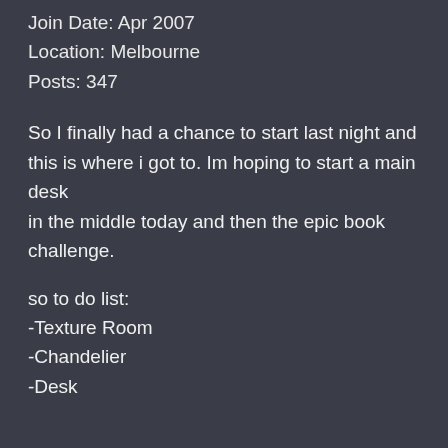Join Date: Apr 2007
Location: Melbourne
Posts: 347
So I finally had a chance to start last night and this is where i got to. Im hoping to start a main desk in the middle today and then the epic book challenge.
so to do list:
-Texture Room
-Chandelier
-Desk